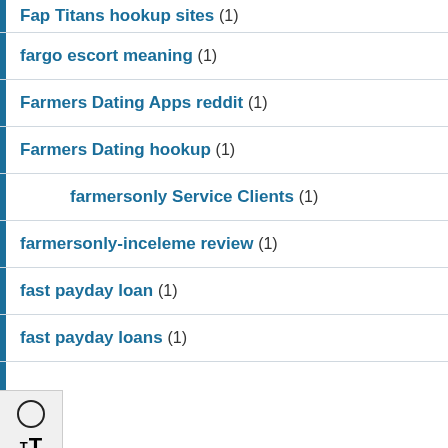Fap Titans hookup sites (1)
fargo escort meaning (1)
Farmers Dating Apps reddit (1)
Farmers Dating hookup (1)
farmersonly Service Clients (1)
farmersonly-inceleme review (1)
fast payday loan (1)
fast payday loans (1)